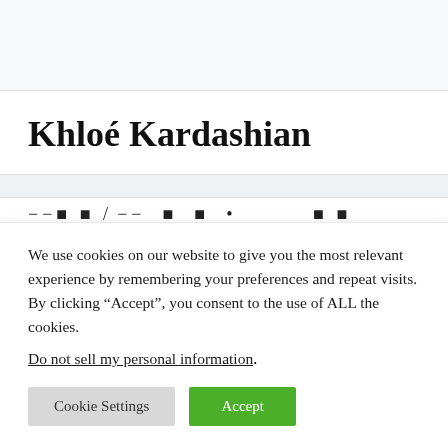Khloé Kardashian
We use cookies on our website to give you the most relevant experience by remembering your preferences and repeat visits. By clicking “Accept”, you consent to the use of ALL the cookies.
Do not sell my personal information.
Cookie Settings | Accept